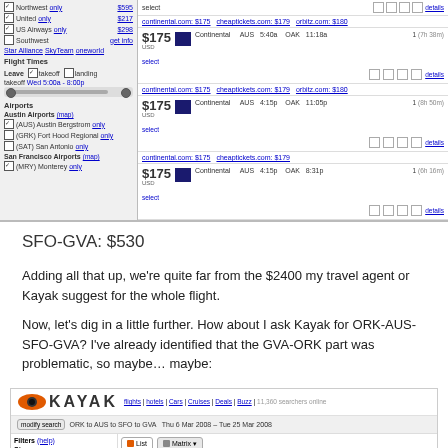[Figure (screenshot): Flight search results from Kayak showing Continental Airlines flights from AUS to OAK at $175, with left panel showing filters for airlines, flight times, and airports]
SFO-GVA: $530
Adding all that up, we’re quite far from the $2400 my travel agent or Kayak suggest for the whole flight.
Now, let’s dig in a little further. How about I ask Kayak for ORK-AUS-SFO-GVA? I’ve already identified that the GVA-ORK part was problematic, so maybe… maybe:
[Figure (screenshot): Kayak flight search interface showing search for ORK to AUS to SFO to GVA, Thu 6 Mar 2008 - Tue 25 Mar 2008, with 158 of 224 results shown, displaying column headers for Price, Airline, Depart, Arrive, Stops (Duration)]